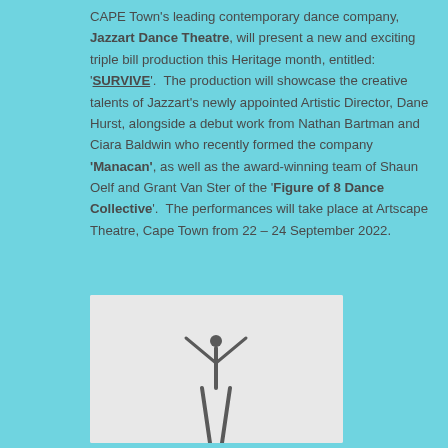CAPE Town's leading contemporary dance company, Jazzart Dance Theatre, will present a new and exciting triple bill production this Heritage month, entitled: 'SURVIVE'.  The production will showcase the creative talents of Jazzart's newly appointed Artistic Director, Dane Hurst, alongside a debut work from Nathan Bartman and Ciara Baldwin who recently formed the company 'Manacan', as well as the award-winning team of Shaun Oelf and Grant Van Ster of the 'Figure of 8 Dance Collective'.  The performances will take place at Artscape Theatre, Cape Town from 22 – 24 September 2022.
[Figure (photo): A dancer figure photographed against a light grey background, showing the lower body/legs of a dancer in a performance pose.]